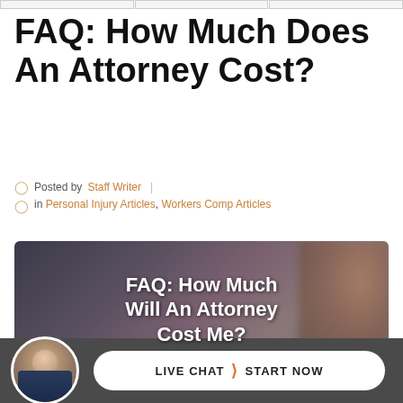FAQ: How Much Does An Attorney Cost?
Posted by Staff Writer | in Personal Injury Articles, Workers Comp Articles
[Figure (photo): Blurred photo of a person (attorney) in a professional setting with bookshelves in background, overlaid with white text reading: FAQ: How Much Will An Attorney Cost Me?]
LIVE CHAT › START NOW